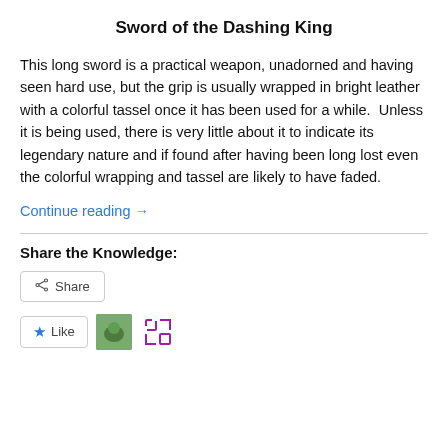Sword of the Dashing King
This long sword is a practical weapon, unadorned and having seen hard use, but the grip is usually wrapped in bright leather with a colorful tassel once it has been used for a while.  Unless it is being used, there is very little about it to indicate its legendary nature and if found after having been long lost even the colorful wrapping and tassel are likely to have faded.
Continue reading →
Share the Knowledge: